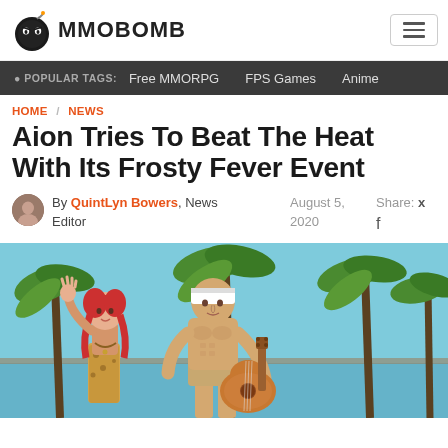MMOBOMB
POPULAR TAGS: Free MMORPG  FPS Games  Anime
HOME / NEWS
Aion Tries To Beat The Heat With Its Frosty Fever Event
By QuintLyn Bowers, News Editor  August 5, 2020  Share:
[Figure (photo): Two animated video game characters at a tropical beach setting. A female character with red pigtails in a leopard print outfit waves, beside a muscular male character wearing a white bandana and holding an acoustic guitar. Palm trees and water visible in background.]